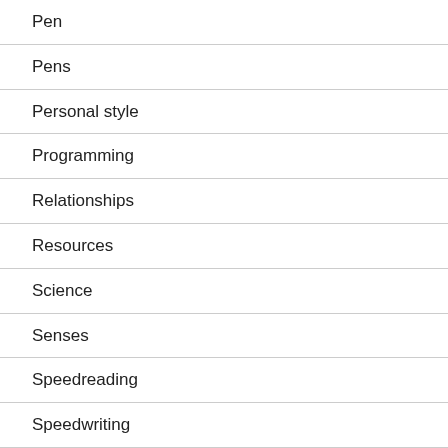Pen
Pens
Personal style
Programming
Relationships
Resources
Science
Senses
Speedreading
Speedwriting
Superlearning